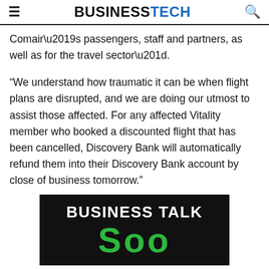BUSINESSTECH
Comair’s passengers, staff and partners, as well as for the travel sector”.
“We understand how traumatic it can be when flight plans are disrupted, and we are doing our utmost to assist those affected. For any affected Vitality member who booked a discounted flight that has been cancelled, Discovery Bank will automatically refund them into their Discovery Bank account by close of business tomorrow.”
[Figure (illustration): Black banner advertisement with white bold text reading 'BUSINESS TALK' and large green text reading 'S' characters, partially visible at the bottom of the page.]